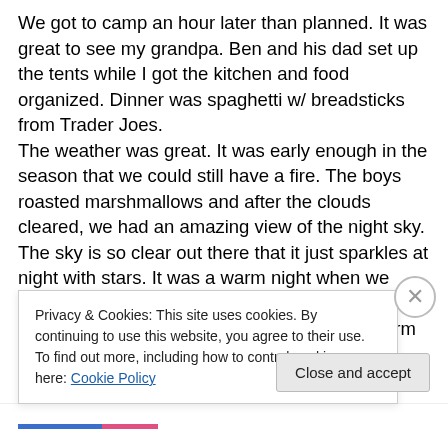We got to camp an hour later than planned. It was great to see my grandpa. Ben and his dad set up the tents while I got the kitchen and food organized. Dinner was spaghetti w/ breadsticks from Trader Joes. The weather was great. It was early enough in the season that we could still have a fire. The boys roasted marshmallows and after the clouds cleared, we had an amazing view of the night sky. The sky is so clear out there that it just sparkles at night with stars. It was a warm night when we went to bed but the temperature dropped early Saturday morning. I was glad I brought my warm
Privacy & Cookies: This site uses cookies. By continuing to use this website, you agree to their use.
To find out more, including how to control cookies, see here: Cookie Policy
Close and accept